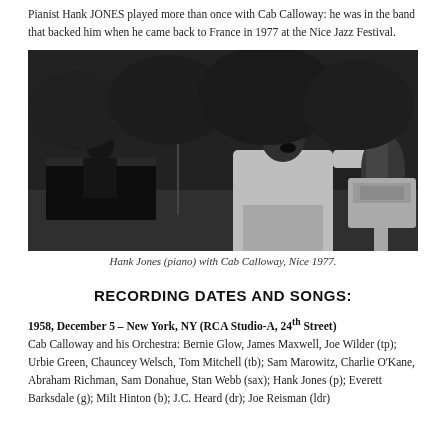Pianist Hank JONES played more than once with Cab Calloway: he was in the band that backed him when he came back to France in 1977 at the Nice Jazz Festival.
[Figure (photo): Black and white photograph of Hank Jones at piano with Cab Calloway singing on stage at Nice 1977, with a bassist visible in background and a podium/stand on the right.]
Hank Jones (piano) with Cab Calloway, Nice 1977.
RECORDING DATES AND SONGS:
1958, December 5 – New York, NY (RCA Studio-A, 24th Street)
Cab Calloway and his Orchestra: Bernie Glow, James Maxwell, Joe Wilder (tp); Urbie Green, Chauncey Welsch, Tom Mitchell (tb); Sam Marowitz, Charlie O'Kane, Abraham Richman, Sam Donahue, Stan Webb (sax); Hank Jones (p); Everett Barksdale (g); Milt Hinton (b); J.C. Heard (dr); Joe Reisman (ldr)